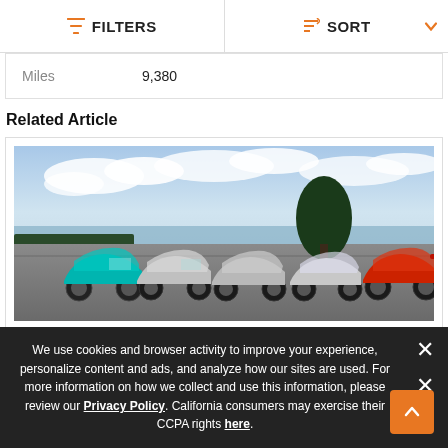FILTERS   SORT
| Miles | 9,380 |
| --- | --- |
Related Article
[Figure (photo): Multiple Polaris Slingshot three-wheeled vehicles parked on an overlook with ocean and sky in background; models in teal, silver, and red colors]
We use cookies and browser activity to improve your experience, personalize content and ads, and analyze how our sites are used. For more information on how we collect and use this information, please review our Privacy Policy. California consumers may exercise their CCPA rights here.